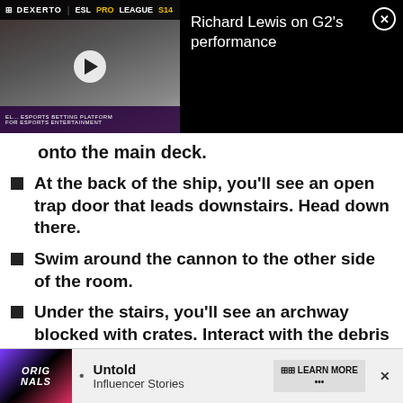[Figure (screenshot): Video player thumbnail showing ESL Pro League S14 Dexerto stream with a man wearing glasses. Title overlay: 'Richard Lewis on G2's performance'. Close button (X) in top right.]
onto the main deck.
At the back of the ship, you'll see an open trap door that leads downstairs. Head down there.
Swim around the cannon to the other side of the room.
Under the stairs, you'll see an archway blocked with crates. Interact with the debris with the rope handles.
Swim through, and head to the far-right of the room.
On [partially obscured] h tho[se]...
[Figure (screenshot): Bottom advertisement banner: Originals logo on left, bullet point, 'Untold Influencer Stories', LEARN MORE button, close X button.]